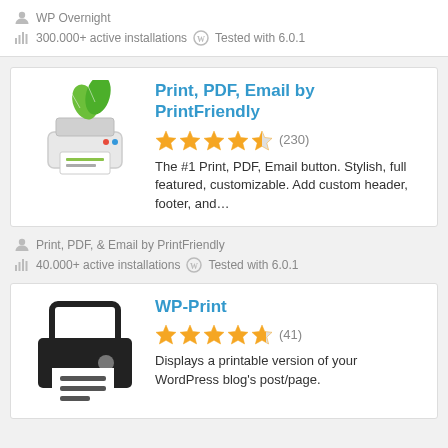WP Overnight
300.000+ active installations  Tested with 6.0.1
Print, PDF, Email by PrintFriendly
4.5 stars (230)
The #1 Print, PDF, Email button. Stylish, full featured, customizable. Add custom header, footer, and...
Print, PDF, & Email by PrintFriendly
40.000+ active installations  Tested with 6.0.1
WP-Print
4.5 stars (41)
Displays a printable version of your WordPress blog's post/page.